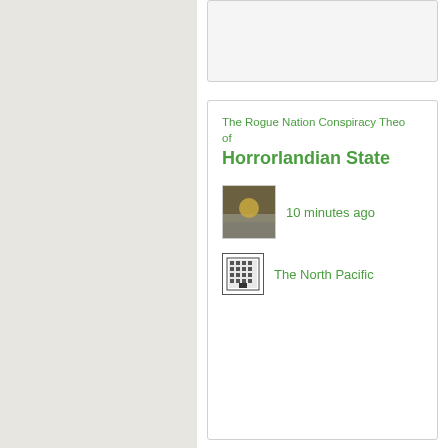The Rogue Nation Conspiracy Theo of Horrorlandian State
10 minutes ago
The North Pacific